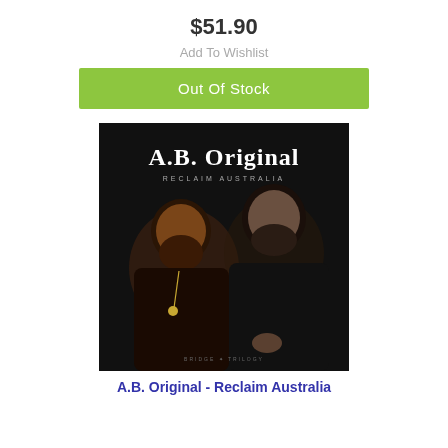$51.90
Add To Wishlist
Out Of Stock
[Figure (photo): Album cover for A.B. Original - Reclaim Australia, showing two bearded men against a dark background with ornate gothic-style text 'A.B. Original' and 'Reclaim Australia' above them.]
A.B. Original - Reclaim Australia